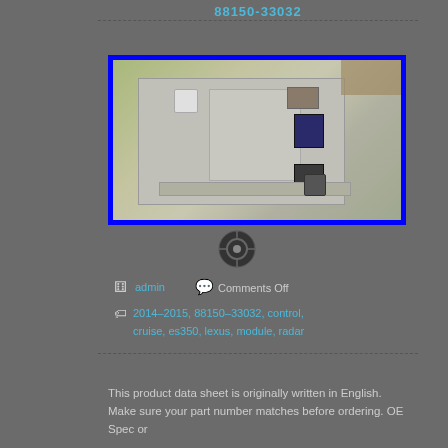88150-33032
[Figure (photo): Close-up photo of a PCB/radar module circuit board (88150-33032) with blue border frame around the image]
[Figure (other): Circular icon/avatar placeholder]
admin  Comments Off
2014-2015, 88150-33032, control, cruise, es350, lexus, module, radar
This product data sheet is originally written in English. Make sure your part number matches before ordering. OE Spec or